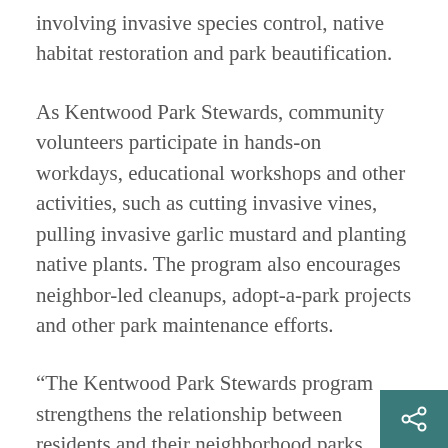involving invasive species control, native habitat restoration and park beautification.
As Kentwood Park Stewards, community volunteers participate in hands-on workdays, educational workshops and other activities, such as cutting invasive vines, pulling invasive garlic mustard and planting native plants. The program also encourages neighbor-led cleanups, adopt-a-park projects and other park maintenance efforts.
“The Kentwood Park Stewards program strengthens the relationship between residents and their neighborhood parks while creating lasting benefits to the environment,” Recreation Program Coordinator Kristina Colby said. “Opportunities for residents to get involved and care for their neighborhood parks helps foster a greater sense o